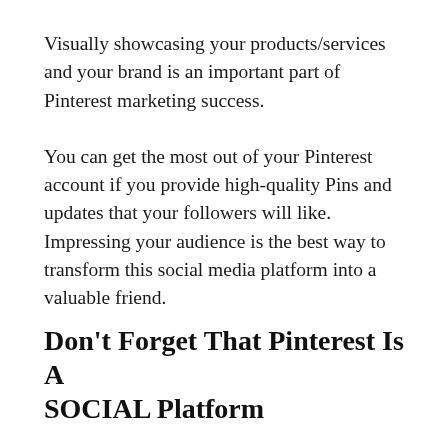Visually showcasing your products/services and your brand is an important part of Pinterest marketing success.
You can get the most out of your Pinterest account if you provide high-quality Pins and updates that your followers will like. Impressing your audience is the best way to transform this social media platform into a valuable friend.
Don't Forget That Pinterest Is A SOCIAL Platform